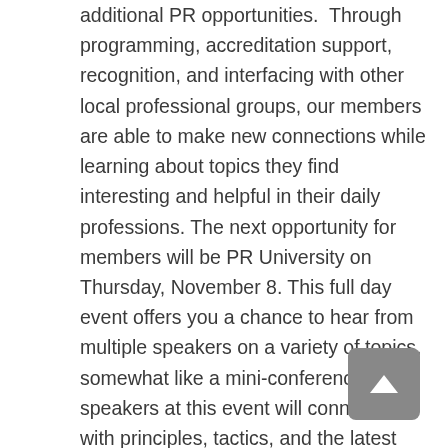additional PR opportunities.  Through programming, accreditation support, recognition, and interfacing with other local professional groups, our members are able to make new connections while learning about topics they find interesting and helpful in their daily professions. The next opportunity for members will be PR University on Thursday, November 8. This full day event offers you a chance to hear from multiple speakers on a variety of topics, somewhat like a mini-conference.  The speakers at this event will connect you with principles, tactics, and the latest trends in communications.